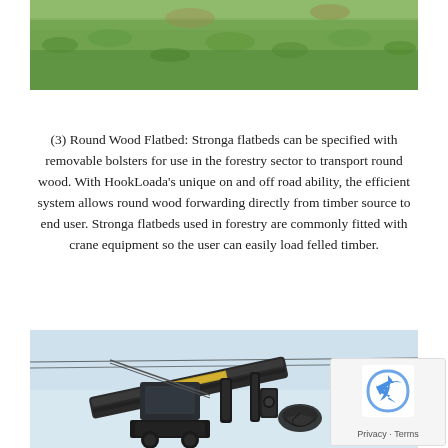[Figure (photo): Top portion of a grassy field/meadow background image, cropped at the top of the page]
(3) Round Wood Flatbed: Stronga flatbeds can be specified with removable bolsters for use in the forestry sector to transport round wood. With HookLoada’s unique on and off road ability, the efficient system allows round wood forwarding directly from timber source to end user. Stronga flatbeds used in forestry are commonly fitted with crane equipment so the user can easily load felled timber.
[Figure (photo): Photo of crane/loader equipment mounted on a vehicle, showing mechanical arm and cables against a light sky background]